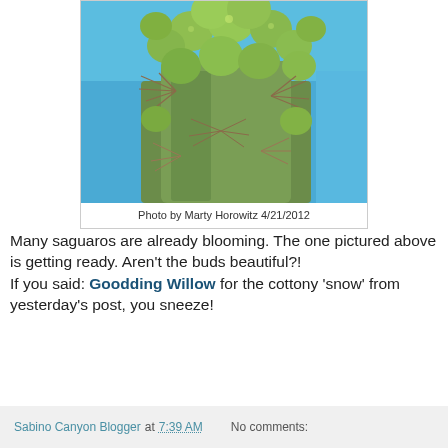[Figure (photo): Close-up photograph of saguaro cactus buds clustered at the top against a bright blue sky. The buds are green and round, with spines visible on the cactus trunk. Photo by Marty Horowitz 4/21/2012.]
Photo by Marty Horowitz 4/21/2012
Many saguaros are already blooming. The one pictured above is getting ready. Aren't the buds beautiful?! If you said: Goodding Willow for the cottony 'snow' from yesterday's post, you sneeze!
Sabino Canyon Blogger at 7:39 AM    No comments: